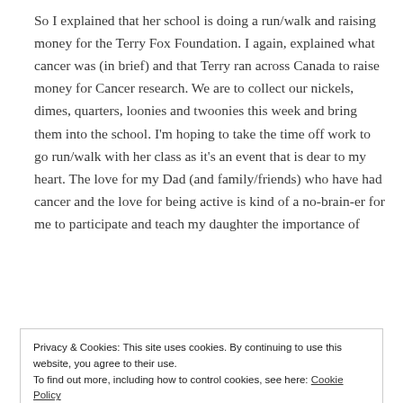So I explained that her school is doing a run/walk and raising money for the Terry Fox Foundation. I again, explained what cancer was (in brief) and that Terry ran across Canada to raise money for Cancer research. We are to collect our nickels, dimes, quarters, loonies and twoonies this week and bring them into the school. I'm hoping to take the time off work to go run/walk with her class as it's an event that is dear to my heart. The love for my Dad (and family/friends) who have had cancer and the love for being active is kind of a no-brain-er for me to participate and teach my daughter the importance of
Privacy & Cookies: This site uses cookies. By continuing to use this website, you agree to their use.
To find out more, including how to control cookies, see here: Cookie Policy
Close and accept
run/walk next week. She told them, "she was going to run